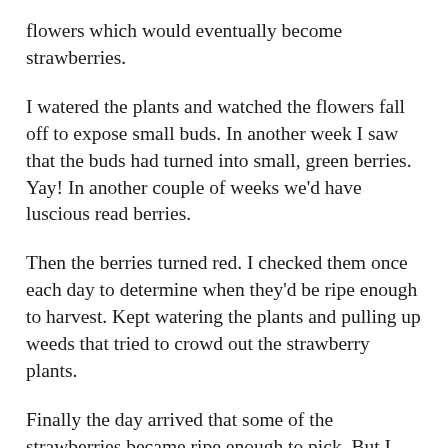flowers which would eventually become strawberries.
I watered the plants and watched the flowers fall off to expose small buds. In another week I saw that the buds had turned into small, green berries. Yay! In another couple of weeks we'd have luscious read berries.
Then the berries turned red. I checked them once each day to determine when they'd be ripe enough to harvest. Kept watering the plants and pulling up weeds that tried to crowd out the strawberry plants.
Finally the day arrived that some of the strawberries became ripe enough to pick. But I discovered to my chagrin that another creature also wanted my ripe strawberries: the robins.
While I sat on my back deck enjoying the cool evenings, here came the female robin. She'd land on the fence and turn her head from side to side to scope out the most delectable